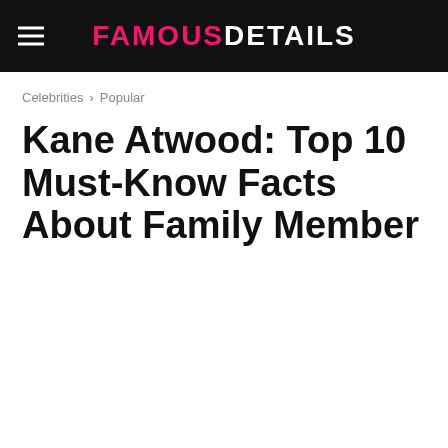FAMOUS DETAILS
Celebrities › Popular
Kane Atwood: Top 10 Must-Know Facts About Family Member